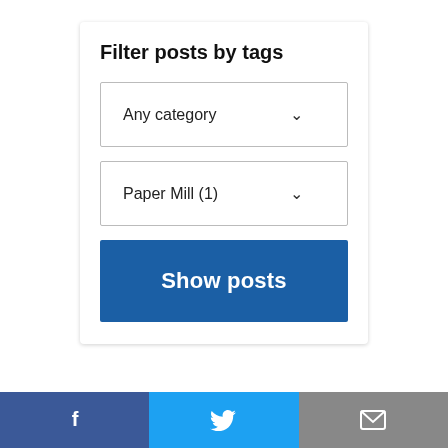Filter posts by tags
Any category
Paper Mill (1)
Show posts
[Figure (infographic): Social share bar with Facebook (blue), Twitter (light blue), and email (grey) buttons at the bottom of the page]